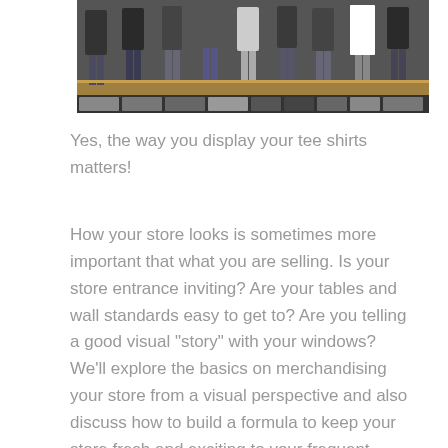[Figure (photo): Photo of clothing store display with mannequins wearing jeans and tops mounted on a wall, with a row of smaller thumbnail images along the bottom.]
Yes, the way you display your tee shirts matters!
How your store looks is sometimes more important that what you are selling. Is your store entrance inviting? Are your tables and wall standards easy to get to? Are you telling a good visual "story" with your windows? We'll explore the basics on merchandising your store from a visual perspective and also discuss how to build a formula to keep your store fresh and exciting to your frequent shoppers as well as your new guests.